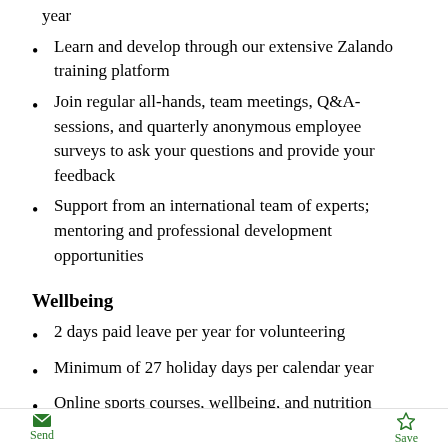year
Learn and develop through our extensive Zalando training platform
Join regular all-hands, team meetings, Q&A-sessions, and quarterly anonymous employee surveys to ask your questions and provide your feedback
Support from an international team of experts; mentoring and professional development opportunities
Wellbeing
2 days paid leave per year for volunteering
Minimum of 27 holiday days per calendar year
Online sports courses, wellbeing, and nutrition advice offered by Humanoo personal wellbeing coach app
Send  Save